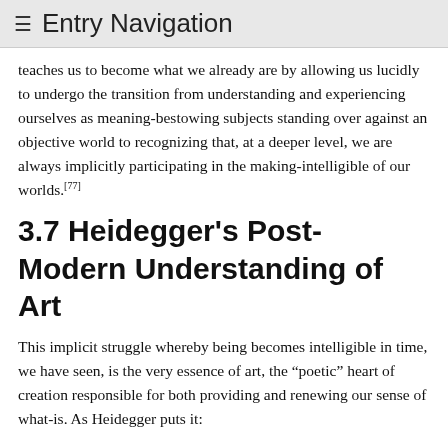≡ Entry Navigation
teaches us to become what we already are by allowing us lucidly to undergo the transition from understanding and experiencing ourselves as meaning-bestowing subjects standing over against an objective world to recognizing that, at a deeper level, we are always implicitly participating in the making-intelligible of our worlds.[77]
3.7 Heidegger's Post-Modern Understanding of Art
This implicit struggle whereby being becomes intelligible in time, we have seen, is the very essence of art, the “poetic” heart of creation responsible for both providing and renewing our sense of what-is. As Heidegger puts it:
everything with which humanity is endowed must, in the [poetic] projection [that “brings-into-being” or makes things newly intelligible], be drawn up from out of the closed ground [i.e., from the “earth” understood as the untapped possibilities still